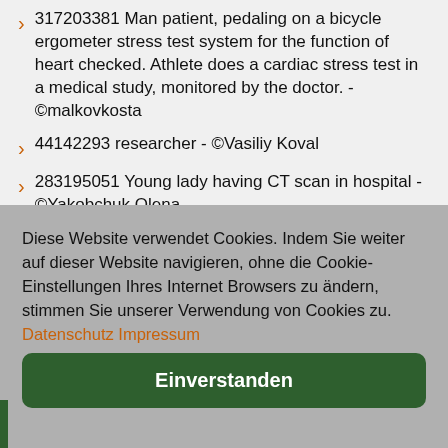317203381 Man patient, pedaling on a bicycle ergometer stress test system for the function of heart checked. Athlete does a cardiac stress test in a medical study, monitored by the doctor. - ©malkovkosta
44142293 researcher - ©Vasiliy Koval
283195051 Young lady having CT scan in hospital - ©Yakobchuk Olena
Diese Website verwendet Cookies. Indem Sie weiter auf dieser Website navigieren, ohne die Cookie-Einstellungen Ihres Internet Browsers zu ändern, stimmen Sie unserer Verwendung von Cookies zu. Datenschutz Impressum